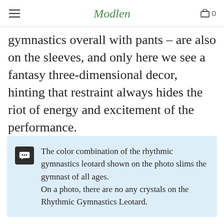Modlen
gymnastics overall with pants – are also on the sleeves, and only here we see a fantasy three-dimensional decor, hinting that restraint always hides the riot of energy and excitement of the performance.
The color combination of the rhythmic gymnastics leotard shown on the photo slims the gymnast of all ages. On a photo, there are no any crystals on the Rhythmic Gymnastics Leotard.